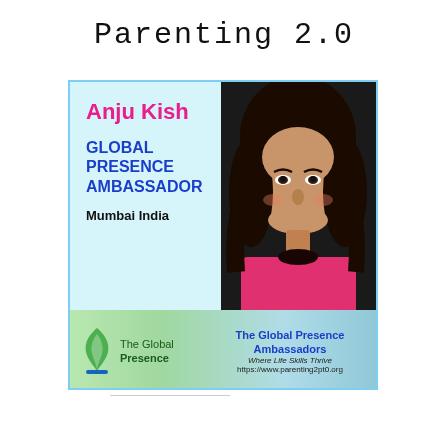Parenting 2.0
[Figure (infographic): Ambassador card for Anju Kish, Global Presence Ambassador, Mumbai India, with photo and The Global Presence logo and website.]